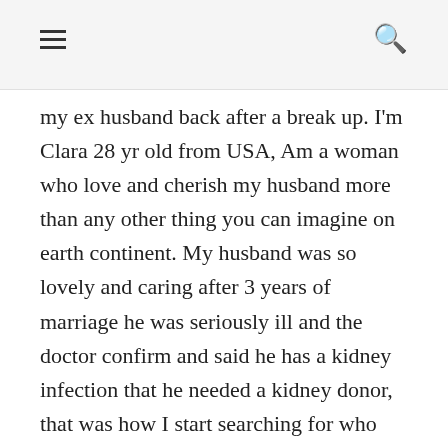≡  🔍
my ex husband back after a break up. I'm Clara 28 yr old from USA, Am a woman who love and cherish my husband more than any other thing you can imagine on earth continent. My husband was so lovely and caring after 3 years of marriage he was seriously ill and the doctor confirm and said he has a kidney infection that he needed a kidney donor, that was how I start searching for who can help, doctor has given me a periodic hour that he will live